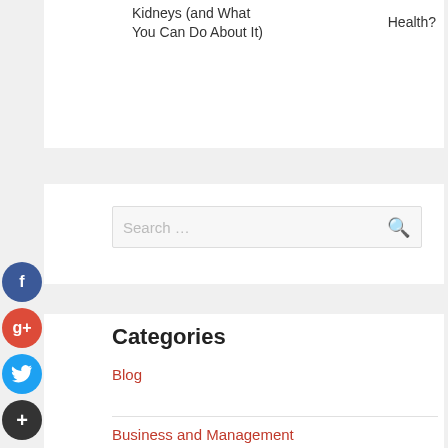Kidneys (and What You Can Do About It)
Health?
Search ...
Categories
Blog
Business and Management